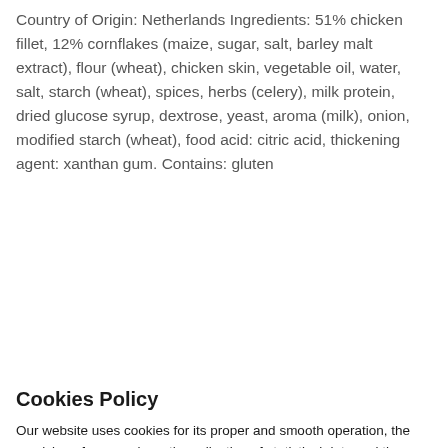Country of Origin: Netherlands Ingredients: 51% chicken fillet, 12% cornflakes (maize, sugar, salt, barley malt extract), flour (wheat), chicken skin, vegetable oil, water, salt, starch (wheat), spices, herbs (celery), milk protein, dried glucose syrup, dextrose, yeast, aroma (milk), onion, modified starch (wheat), food acid: citric acid, thickening agent: xanthan gum. Contains: gluten
Cookies Policy
Our website uses cookies for its proper and smooth operation, the provision of our services, the collection of statistical data and the provision of content tailored to your interests. For more information you may visit the Cookies Policy posted on our website. Select "I accept" if you accept the use of all cookies. Alternatively, you may set your own preferences by selecting "Settings".
Cookie settings
Accept All